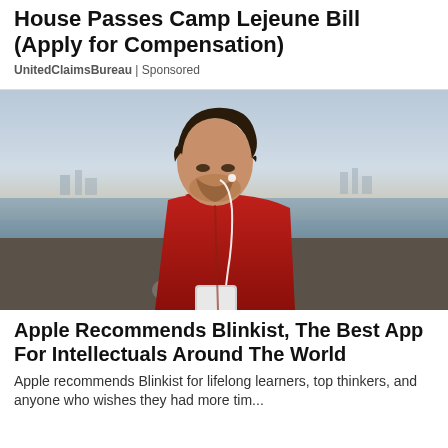House Passes Camp Lejeune Bill (Apply for Compensation)
UnitedClaimsBureau | Sponsored
[Figure (photo): Man in red hoodie with earbuds looking down at a smartphone, standing near a rocky waterfront with a hazy city skyline in the background.]
Apple Recommends Blinkist, The Best App For Intellectuals Around The World
Apple recommends Blinkist for lifelong learners, top thinkers, and anyone who wishes they had more tim...